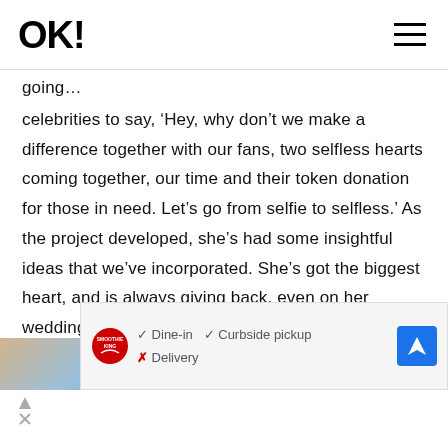OK!
…going…
celebrities to say, ‘Hey, why don’t we make a difference together with our fans, two selfless hearts coming together, our time and their token donation for those in need. Let’s go from selfie to selfless.’ As the project developed, she’s had some insightful ideas that we’ve incorporated. She’s got the biggest heart, and is always giving back, even on her wedding day.”
[Figure (infographic): Advertisement banner for Smoothie King showing dine-in checkmark, curbside pickup checkmark, delivery X mark, and a blue navigation arrow icon]